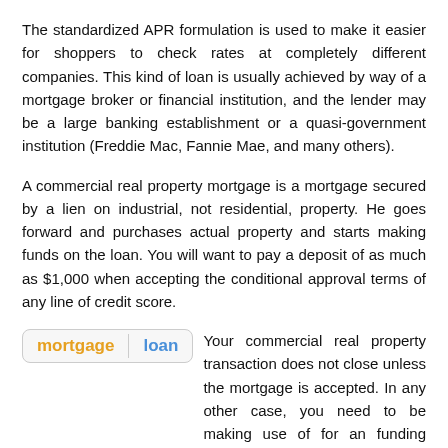The standardized APR formulation is used to make it easier for shoppers to check rates at completely different companies. This kind of loan is usually achieved by way of a mortgage broker or financial institution, and the lender may be a large banking establishment or a quasi-government institution (Freddie Mac, Fannie Mae, and many others).
A commercial real property mortgage is a mortgage secured by a lien on industrial, not residential, property. He goes forward and purchases actual property and starts making funds on the loan. You will want to pay a deposit of as much as $1,000 when accepting the conditional approval terms of any line of credit score.
[Figure (screenshot): UI widget showing two tab-style buttons labeled 'mortgage' (in orange/gold bold text) and 'loan' (in blue bold text), separated by a vertical divider, inside a rounded rectangle.]
Your commercial real property transaction does not close unless the mortgage is accepted. In any other case, you need to be making use of for an funding property loan as a substitute, which are acceptable for rental properties